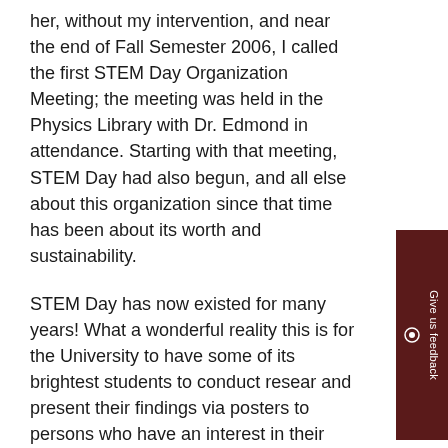her, without my intervention, and near the end of Fall Semester 2006, I called the first STEM Day Organization Meeting; the meeting was held in the Physics Library with Dr. Edmond in attendance. Starting with that meeting, STEM Day had also begun, and all else about this organization since that time has been about its worth and sustainability.
STEM Day has now existed for many years! What a wonderful reality this is for the University to have some of its brightest students to conduct research and present their findings via posters to persons who have an interest in their work. Moreover, I am delighted to have participated in, have observed faculty members mentoring students in this manner, and have seen faculty and staff members taking leadership roles to make each STEM Day a